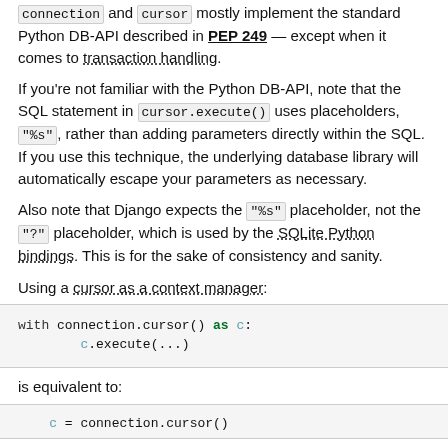`connection` and `cursor` mostly implement the standard Python DB-API described in PEP 249 — except when it comes to transaction handling.
If you're not familiar with the Python DB-API, note that the SQL statement in `cursor.execute()` uses placeholders, "%s", rather than adding parameters directly within the SQL. If you use this technique, the underlying database library will automatically escape your parameters as necessary.
Also note that Django expects the "%s" placeholder, not the "?" placeholder, which is used by the SQLite Python bindings. This is for the sake of consistency and sanity.
Using a cursor as a context manager:
[Figure (screenshot): Code block showing: with connection.cursor() as c:  c.execute(...)]
is equivalent to:
[Figure (screenshot): Code block showing: c = connection.cursor()]